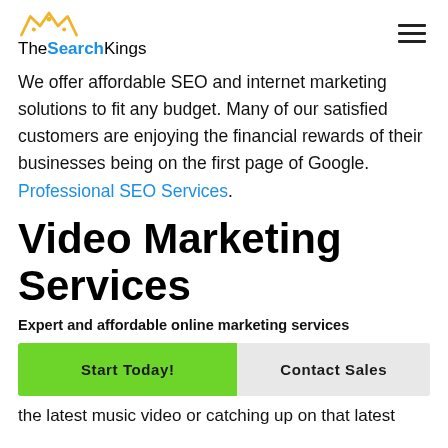TheSearchKings
We offer affordable SEO and internet marketing solutions to fit any budget. Many of our satisfied customers are enjoying the financial rewards of their businesses being on the first page of Google. Professional SEO Services.
Video Marketing Services
Expert and affordable online marketing services
Start Today!  Contact Sales
the latest music video or catching up on that latest